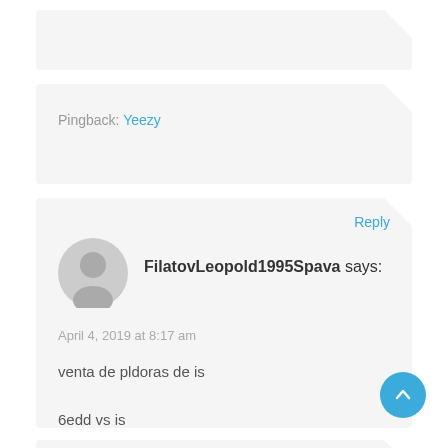Pingback: Yeezy
FilatovLeopold1995Spava says:
April 4, 2019 at 8:17 am
venta de pldoras de is

6edd vs is